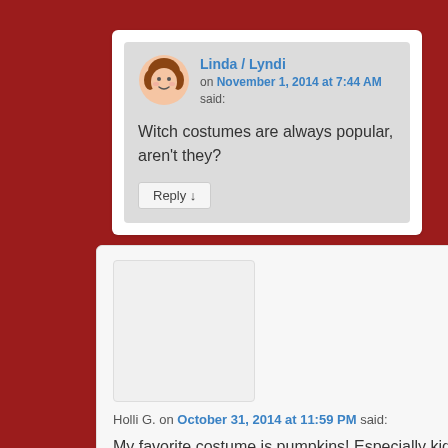Linda / Lyndi on November 1, 2014 at 7:44 AM said: Witch costumes are always popular, aren't they?
Holli G. on October 31, 2014 at 11:59 PM said: My favorite costume is pumpkins! Especially kid pumpkins. So cute!